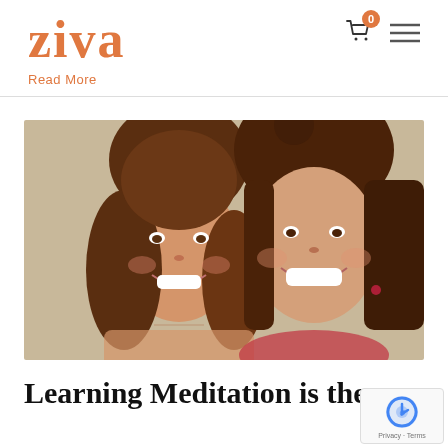ZIVA
Read More
[Figure (photo): Two smiling women with brown hair posing together for a selfie-style photo indoors]
Learning Meditation is the